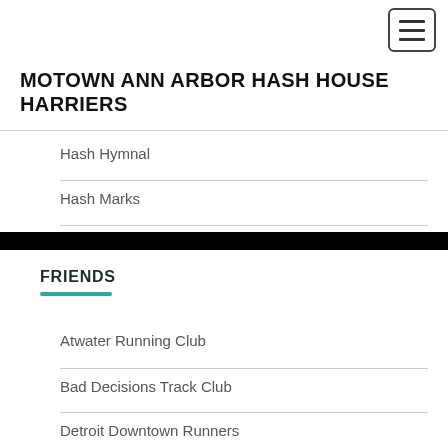MOTOWN ANN ARBOR HASH HOUSE HARRIERS
Hash Hymnal
Hash Marks
FRIENDS
Atwater Running Club
Bad Decisions Track Club
Detroit Downtown Runners